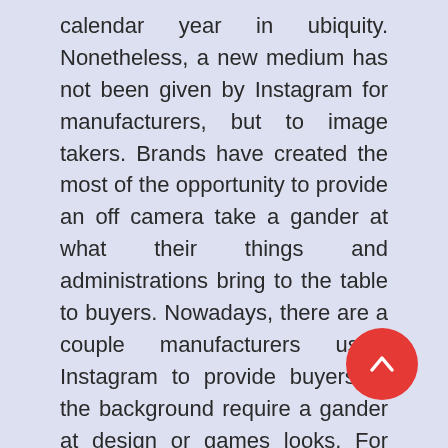calendar year in ubiquity. Nonetheless, a new medium has not been given by Instagram for manufacturers, but to image takers. Brands have created the most of the opportunity to provide an off camera take a gander at what their things and administrations bring to the table to buyers. Nowadays, there are a couple manufacturers using Instagram to provide buyers at the background require a gander at design or games looks. For boosting functions, a couple of manufacturers have registered compelling Instagram customers. Here are a few brands which are using Instagram marking boosting and publicizing functions.

In the web With respect to internet Destinations such as Twitter and Facebook